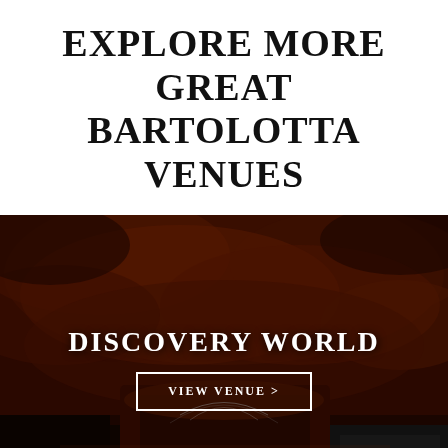EXPLORE MORE GREAT BARTOLOTTA VENUES
[Figure (photo): Nighttime photo of Discovery World venue with dramatic dark red cloudy sky and illuminated building structure. Overlay text reads 'DISCOVERY WORLD' with a 'VIEW VENUE >' button.]